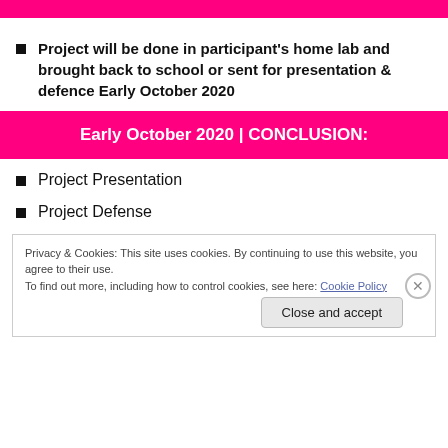Project will be done in participant's home lab and brought back to school or sent for presentation & defence Early October 2020
Early October 2020 | CONCLUSION:
Project Presentation
Project Defense
Privacy & Cookies: This site uses cookies. By continuing to use this website, you agree to their use.
To find out more, including how to control cookies, see here: Cookie Policy
Close and accept